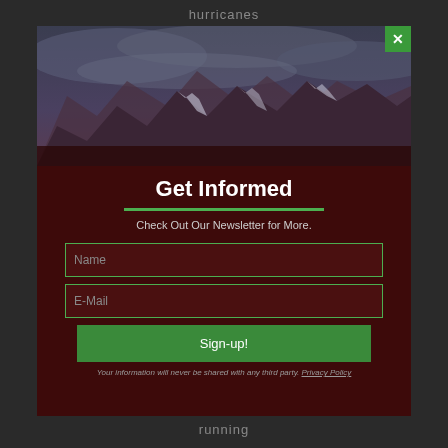hurricanes
[Figure (photo): Dark mountainous landscape with dramatic cloudy sky, snow-capped peaks and rocky terrain in a moody blue-purple tone]
Get Informed
Check Out Our Newsletter for More.
Name
E-Mail
Sign-up!
Your information will never be shared with any third party. Privacy Policy
running